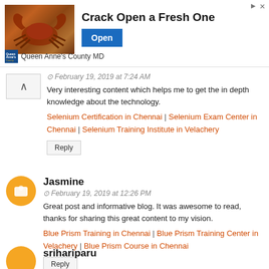[Figure (infographic): Advertisement banner: crab image on left, 'Crack Open a Fresh One' headline in center, blue 'Open' button, Queen Anne's County MD logo and text at bottom left, close/arrow icons top right.]
February 19, 2019 at 7:24 AM
Very interesting content which helps me to get the in depth knowledge about the technology.
Selenium Certification in Chennai | Selenium Exam Center in Chennai | Selenium Training Institute in Velachery
Reply
Jasmine
February 19, 2019 at 12:26 PM
Great post and informative blog. It was awesome to read, thanks for sharing this great content to my vision.
Blue Prism Training in Chennai | Blue Prism Training Center in Velachery | Blue Prism Course in Chennai
Reply
srihariparu